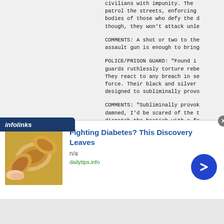civilians with impunity.  The
patrol the streets, enforcing
bodies of those who defy the c
though, they won't attack unle
COMMENTS: A shot or two to the
assault gun is enough to bring
POLICE/PRISON GUARD:  "Found i
guards ruthlessly torture rebe
They react to any breach in se
force.  Their black and silver
designed to subliminally provo
COMMENTS: "Subliminally provok
damned, I'd be scared of the t
dispatch the bastich with a fe
LEVIATHAN SECURITY:  "As the s
Leviathan, these elite troops
gold livery of the world gover
the colony ship with heavy wea
trouble, and are assisted by t
[Figure (screenshot): Infolinks advertisement overlay at bottom of page. Ad for 'Fighting Diabetes? This Discovery Leaves' from dailytips.info, showing cashew nuts image and a blue arrow button.]